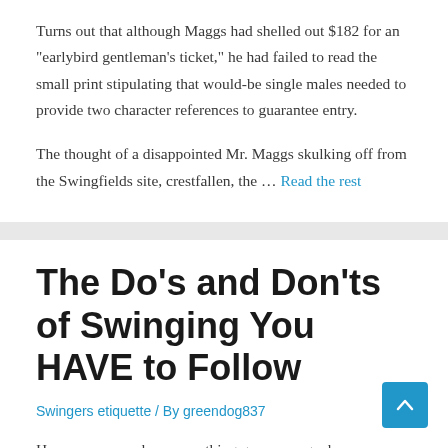Turns out that although Maggs had shelled out $182 for an “earlybird gentleman’s ticket,” he had failed to read the small print stipulating that would-be single males needed to provide two character references to guarantee entry.
The thought of a disappointed Mr. Maggs skulking off from the Swingfields site, crestfallen, the … Read the rest
The Do’s and Don’ts of Swinging You HAVE to Follow
Swingers etiquette / By greendog837
How can you make sure nothing goes wrong when you swap partners while swinging? How can exchanging partners be good for the relationship? Find out about the do’s and don’ts of swingers